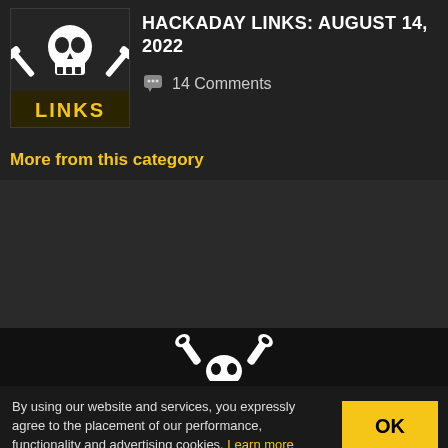[Figure (illustration): Hackaday Links thumbnail: dark background with white skull and crossed wrenches, yellow 'LINKS' text at bottom]
HACKADAY LINKS: AUGUST 14, 2022
💬 14 Comments
More from this category
[Figure (logo): Hackaday logo: two white wrenches crossed, partial skull visible, on black background]
By using our website and services, you expressly agree to the placement of our performance, functionality and advertising cookies. Learn more
OK